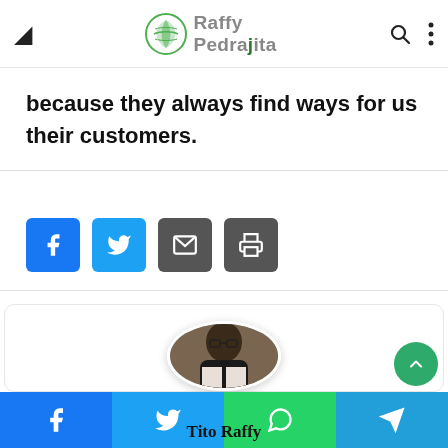Raffy Pedrajita — navigation bar with logo, moon icon, search icon, menu icon
because they always find ways for us their customers.
[Figure (other): Social share buttons: Facebook (blue), Twitter (light blue), Email (dark gray), Print (dark gray)]
[Figure (photo): Circular profile photo of Tito Raffy — a man wearing glasses, raising a drink, dressed in black jacket with white shirt]
Tito Raffy
[Figure (other): Bottom social share bar with Facebook, Twitter, WhatsApp, and Telegram buttons]